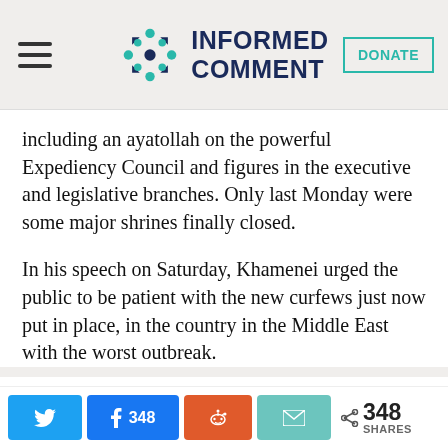INFORMED COMMENT
including an ayatollah on the powerful Expediency Council and figures in the executive and legislative branches. Only last Monday were some major shrines finally closed.
In his speech on Saturday, Khamenei urged the public to be patient with the new curfews just now put in place, in the country in the Middle East with the worst outbreak.
348 SHARES — Twitter, Facebook (348), Reddit, Email share buttons